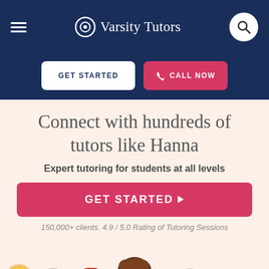[Figure (screenshot): Varsity Tutors mobile website header with navy background, hamburger menu on left, Varsity Tutors logo in center, search button on right]
[Figure (screenshot): Two CTA buttons: GET STARTED (white) and CALL NOW (pink/red) on navy background]
Connect with hundreds of tutors like Hanna
Expert tutoring for students at all levels
[Figure (screenshot): GET STARTED button with arrow in pink/red]
150,000+ clients. 4.9 / 5.0 Rating of Tutoring Sessions
[Figure (illustration): Row of illustrated cartoon tutor faces including a featured tutor (Hanna) in a circular frame in the center, surrounded by other tutor illustrations]